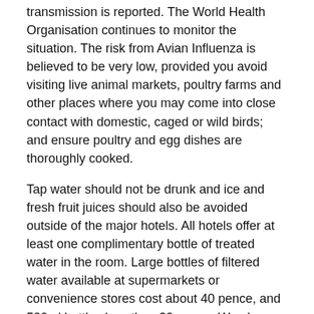transmission is reported. The World Health Organisation continues to monitor the situation. The risk from Avian Influenza is believed to be very low, provided you avoid visiting live animal markets, poultry farms and other places where you may come into close contact with domestic, caged or wild birds; and ensure poultry and egg dishes are thoroughly cooked.
Tap water should not be drunk and ice and fresh fruit juices should also be avoided outside of the major hotels. All hotels offer at least one complimentary bottle of treated water in the room. Large bottles of filtered water available at supermarkets or convenience stores cost about 40 pence, and 500ml bottles less than 20 pence. We also recommend that you eat moderately for the first few days. This allows your system to get used to the changes in cuisine. A recent report revealed that many of the locally produced ice cream brands are sub-standard, so it would be advisable not to buy these products outside of the major cities where western brands are available.
Visitors to areas of high altitude such as Tibet, Qinghai and Xinjiang should be aware of the symptoms and dangers of